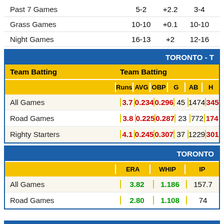|  | W-L | Units | O-U |  |
| --- | --- | --- | --- | --- |
| Past 7 Games | 5-2 | +2.2 | 3-4 |  |
| Grass Games | 10-10 | +0.1 | 10-10 |  |
| Night Games | 16-13 | +2 | 12-16 |  |
TORONTO - T
|  | Runs | AVG | OBP | G | AB | H |
| --- | --- | --- | --- | --- | --- | --- |
| All Games | 3.7 | 0.234 | 0.296 | 45 | 1474 | 345 |
| Road Games | 3.8 | 0.225 | 0.287 | 23 | 772 | 174 |
| Righty Starters | 4.1 | 0.245 | 0.307 | 37 | 1229 | 301 |
TORONTO
|  | ERA | WHIP | IP |
| --- | --- | --- | --- |
| All Games | 3.82 | 1.186 | 157.7 |
| Road Games | 2.80 | 1.108 | 74 |
LA ANGELS
|  | W-L | Units | O-U | R |
| --- | --- | --- | --- | --- |